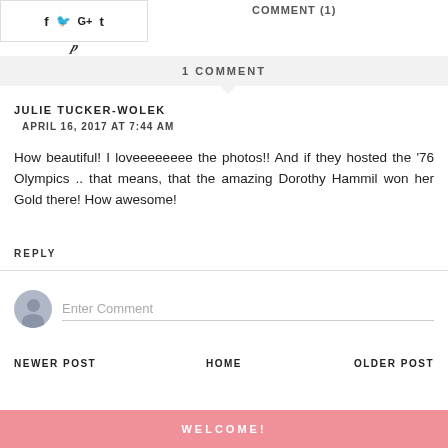f  t  G+  t  p
COMMENT (1)
1 COMMENT
JULIE TUCKER-WOLEK
APRIL 16, 2017 AT 7:44 AM
How beautiful! I loveeeeeeee the photos!! And if they hosted the '76 Olympics .. that means, that the amazing Dorothy Hammil won her Gold there! How awesome!
REPLY
Enter Comment
NEWER POST
HOME
OLDER POST
WELCOME!